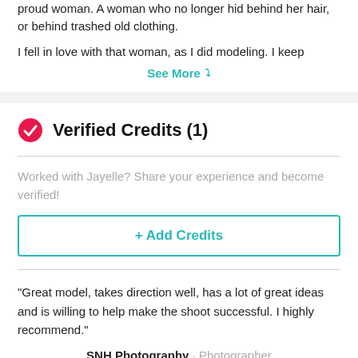proud woman. A woman who no longer hid behind her hair, or behind trashed old clothing.
I fell in love with that woman, as I did modeling. I keep
See More ∨
Verified Credits (1)
Worked with Jayelle? Share your experience and become verified!
+ Add Credits
"Great model, takes direction well, has a lot of great ideas and is willing to help make the shoot successful. I highly recommend."
SNH Photography · Photographer